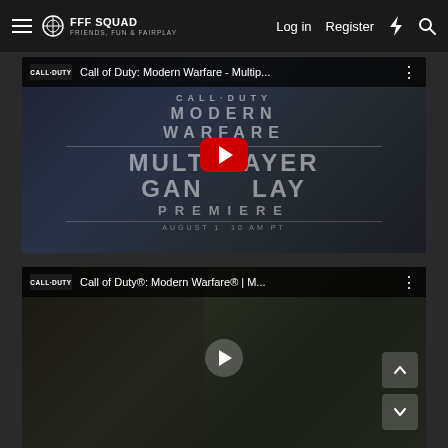FFF Squad navigation bar with Log in, Register, and search actions
[Figure (screenshot): YouTube embedded video thumbnail for Call of Duty: Modern Warfare - Multiplayer Gameplay Premiere with red YouTube play button]
[Figure (screenshot): YouTube embedded video thumbnail for Call of Duty: Modern Warfare | M... with navigation arrow buttons]